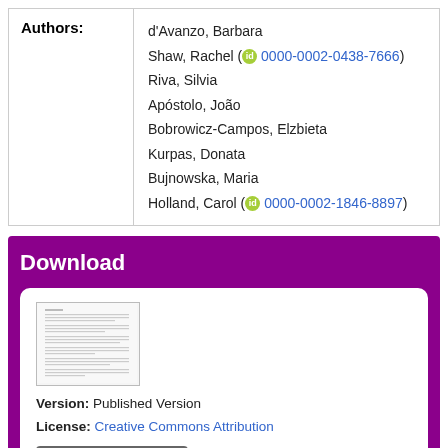| Authors: |
| --- |
| d'Avanzo, Barbara
Shaw, Rachel (0000-0002-0438-7666)
Riva, Silvia
Apóstolo, João
Bobrowicz-Campos, Elzbieta
Kurpas, Donata
Bujnowska, Maria
Holland, Carol (0000-0002-1846-8897) |
Download
[Figure (other): Thumbnail preview of a published document page showing text columns]
Version: Published Version
License: Creative Commons Attribution
Download (1MB) | Preview